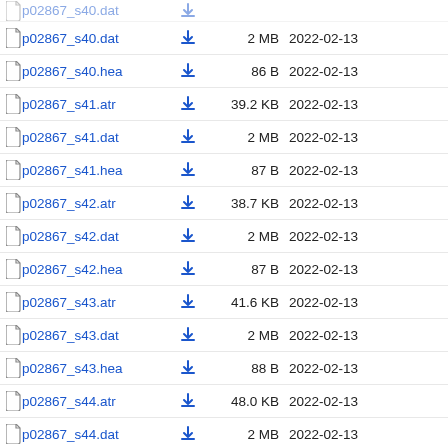p02867_s40.dat  2 MB  2022-02-13
p02867_s40.hea  86 B  2022-02-13
p02867_s41.atr  39.2 KB  2022-02-13
p02867_s41.dat  2 MB  2022-02-13
p02867_s41.hea  87 B  2022-02-13
p02867_s42.atr  38.7 KB  2022-02-13
p02867_s42.dat  2 MB  2022-02-13
p02867_s42.hea  87 B  2022-02-13
p02867_s43.atr  41.6 KB  2022-02-13
p02867_s43.dat  2 MB  2022-02-13
p02867_s43.hea  88 B  2022-02-13
p02867_s44.atr  48.0 KB  2022-02-13
p02867_s44.dat  2 MB  2022-02-13